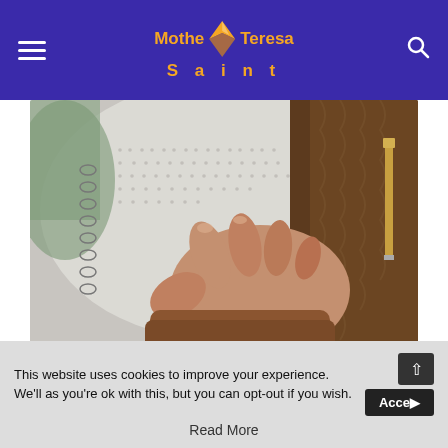Mother Teresa Saint [logo with navigation hamburger menu and search icon]
[Figure (photo): A person reading a braille book, fingers touching the raised dots on the page. The person is wearing a brown knit sweater. The book has a wire spiral binding on the left.]
We spend most of our lives through several layers of skin feeling, hearing, smelling things, tasting things, but there's
This website uses cookies to improve your experience. We'll as you're ok with this, but you can opt-out if you wish. Accept
Read More